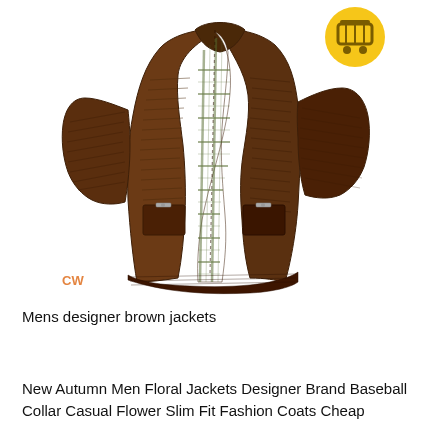[Figure (photo): A brown men's designer leather jacket with ribbed texture, open showing a green and white plaid interior lining. The jacket has a stand-up collar and zipper pockets. There is a small orange 'CW' watermark in the lower left corner and a yellow cart icon in the upper right corner.]
Mens designer brown jackets
New Autumn Men Floral Jackets Designer Brand Baseball Collar Casual Flower Slim Fit Fashion Coats Cheap